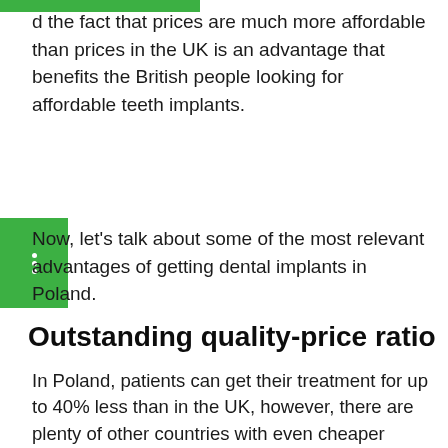d the fact that prices are much more affordable than prices in the UK is an advantage that benefits the British people looking for affordable teeth implants.
Now, let's talk about some of the most relevant advantages of getting dental implants in Poland.
Outstanding quality-price ratio
In Poland, patients can get their treatment for up to 40% less than in the UK, however, there are plenty of other countries with even cheaper prices, but… Why are not those cheaper countries as popular as Poland?